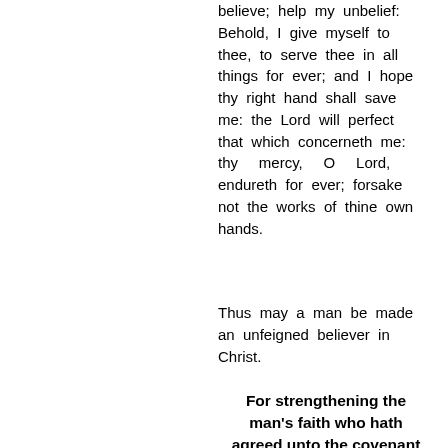believe; help my unbelief: Behold, I give myself to thee, to serve thee in all things for ever; and I hope thy right hand shall save me: the Lord will perfect that which concerneth me: thy mercy, O Lord, endureth for ever; forsake not the works of thine own hands.
Thus may a man be made an unfeigned believer in Christ.
For strengthening the man's faith who hath agreed unto the covenant of grace.
BECAUSE many true believers are weak, and do